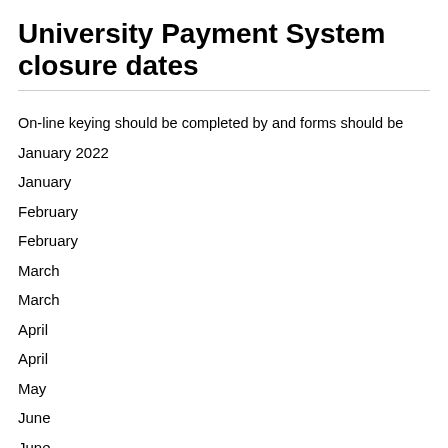University Payment System closure dates
On-line keying should be completed by and forms should be
January 2022
January
February
February
March
March
April
April
May
June
June
July